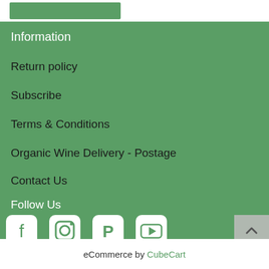[Figure (other): Green button/banner at top of page]
Information
Return policy
Subscribe
Terms & Conditions
Organic Wine Delivery - Postage
Contact Us
Follow Us
[Figure (illustration): Social media icons row: Facebook, Instagram, Pinterest, YouTube]
eCommerce by CubeCart